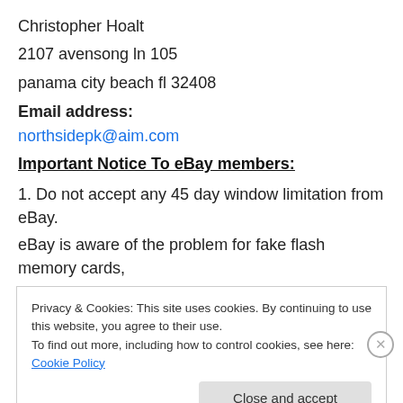Christopher Hoalt
2107 avensong ln 105
panama city beach fl 32408
Email address:
northsidepk@aim.com
Important Notice To eBay members:
1. Do not accept any 45 day window limitation from eBay.
eBay is aware of the problem for fake flash memory cards,
Privacy & Cookies: This site uses cookies. By continuing to use this website, you agree to their use. To find out more, including how to control cookies, see here: Cookie Policy
Close and accept